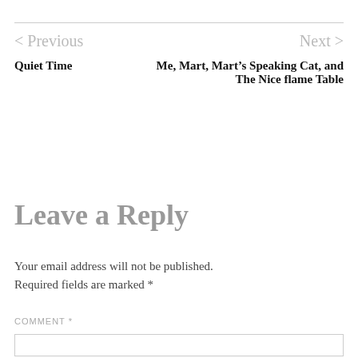< Previous | Next >
Quiet Time
Me, Mart, Mart’s Speaking Cat, and The Nice flame Table
Leave a Reply
Your email address will not be published.
Required fields are marked *
COMMENT *